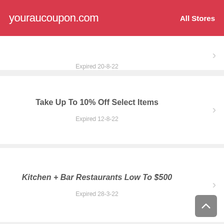youraucoupon.com   All Stores
Expired 20-8-22
Take Up To 10% Off Select Items
Expired 12-8-22
Kitchen + Bar Restaurants Low To $500
Expired 28-3-22
Kitchen Bar Restaurants From $500 At Earls